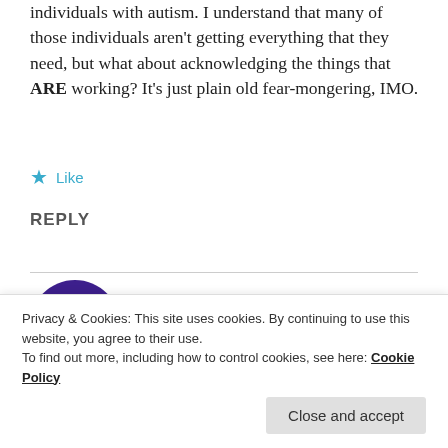individuals with autism. I understand that many of those individuals aren't getting everything that they need, but what about acknowledging the things that ARE working? It's just plain old fear-mongering, IMO.
★ Like
REPLY
DEB LARSON
Privacy & Cookies: This site uses cookies. By continuing to use this website, you agree to their use.
To find out more, including how to control cookies, see here: Cookie Policy
Close and accept